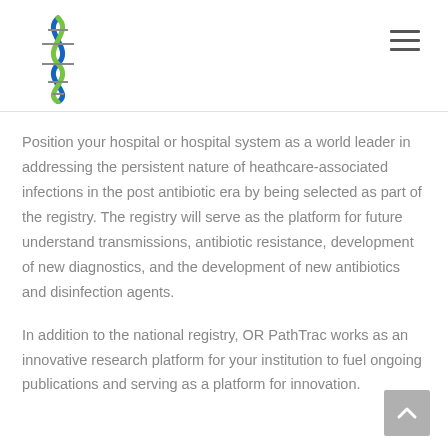[Logo and navigation menu]
Position your hospital or hospital system as a world leader in addressing the persistent nature of heathcare-associated infections in the post antibiotic era by being selected as part of the registry. The registry will serve as the platform for future understand transmissions, antibiotic resistance, development of new diagnostics, and the development of new antibiotics and disinfection agents.
In addition to the national registry, OR PathTrac works as an innovative research platform for your institution to fuel ongoing publications and serving as a platform for innovation.